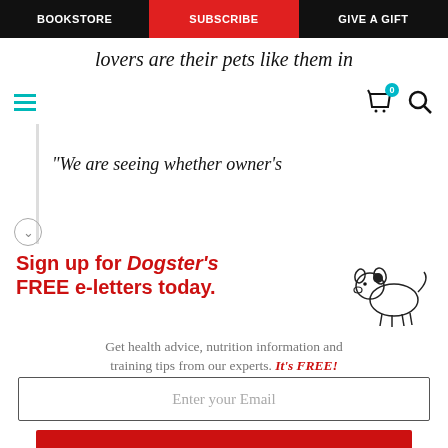BOOKSTORE | SUBSCRIBE | GIVE A GIFT
lovers are their pets like them in
“We are seeing whether owner’s
Sign up for Dogster’s FREE e-letters today.
Get health advice, nutrition information and training tips from our experts. It’s FREE!
Enter your Email
YES! SIGN ME UP